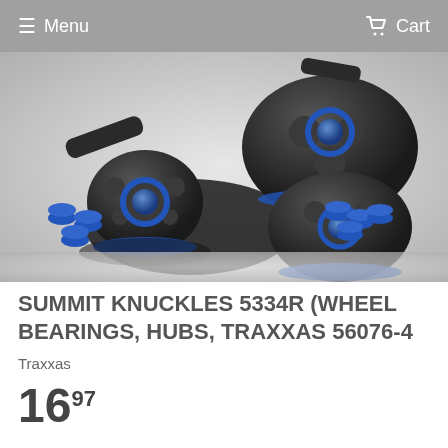Menu   Cart
[Figure (photo): Product photo showing Traxxas Summit Knuckles 5334R — black RC car wheel hub knuckle assemblies with blue bearings and blue rubber cap accessories scattered on a light gray background.]
SUMMIT KNUCKLES 5334R (WHEEL BEARINGS, HUBS, TRAXXAS 56076-4
Traxxas
16.97